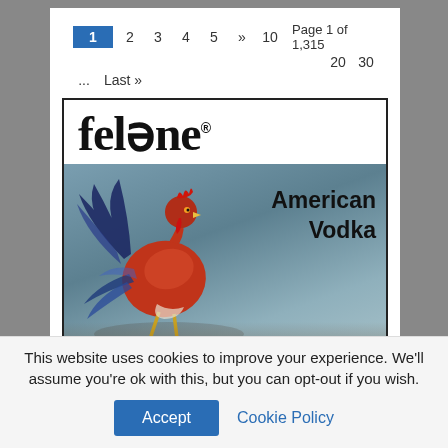1  2  3  4  5  »  10  Page 1 of 1,315  20  30  ...  Last »
[Figure (photo): Felone American Vodka product label showing brand name 'felone' in large serif bold font with registered trademark, and a photograph of a colorful rooster (red and blue plumage) standing on sandy ground, with text 'American Vodka' overlaid on the right side.]
This website uses cookies to improve your experience. We'll assume you're ok with this, but you can opt-out if you wish.
Accept   Cookie Policy